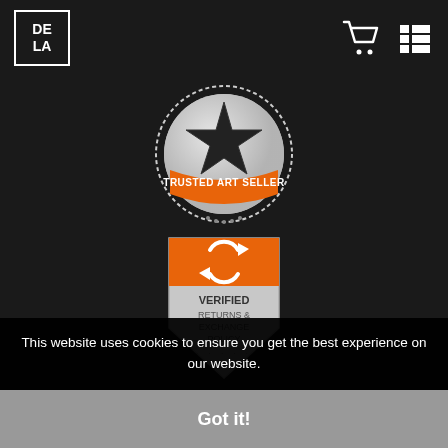DE LA [logo] [cart icon] [menu icon]
[Figure (illustration): Trusted Art Seller badge - circular seal with star and orange ribbon banner reading TRUSTED ART SELLER]
[Figure (illustration): Verified Returns & Exchange Policy badge - shield shape with orange top section showing refresh/sync icon, text reads VERIFIED RETURNS & EXCHANGE POLICY]
[Figure (illustration): Verified Secure Website badge - shield shape with padlock icon, orange accents, text reads VERIFIED SECURE WEBSITE]
This website uses cookies to ensure you get the best experience on our website.
Got it!